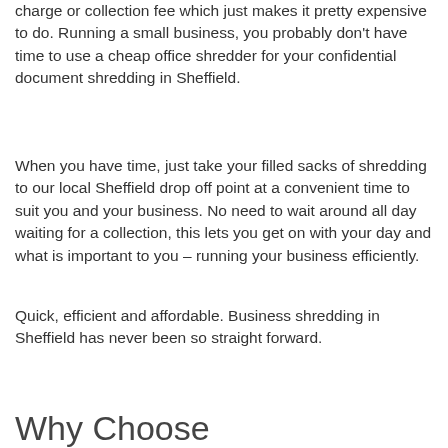charge or collection fee which just makes it pretty expensive to do. Running a small business, you probably don't have time to use a cheap office shredder for your confidential document shredding in Sheffield.
When you have time, just take your filled sacks of shredding to our local Sheffield drop off point at a convenient time to suit you and your business. No need to wait around all day waiting for a collection, this lets you get on with your day and what is important to you – running your business efficiently.
Quick, efficient and affordable. Business shredding in Sheffield has never been so straight forward.
Why Choose